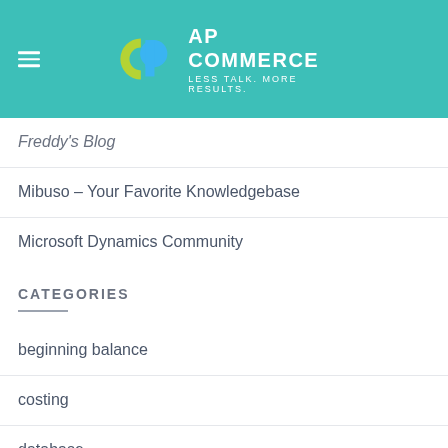AP COMMERCE — LESS TALK. MORE RESULTS.
Freddy's Blog
Mibuso – Your Favorite Knowledgebase
Microsoft Dynamics Community
CATEGORIES
beginning balance
costing
database
Dynamics 365
Dynamics 365 Business Central